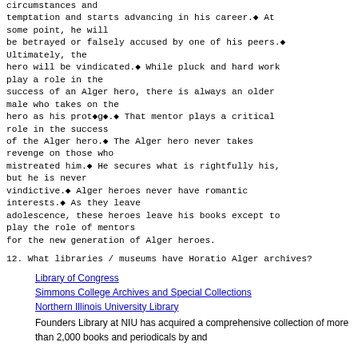circumstances and
temptation and starts advancing in his career.◆ At
some point, he will
be betrayed or falsely accused by one of his peers.◆
Ultimately, the
hero will be vindicated.◆ While pluck and hard work
play a role in the
success of an Alger hero, there is always an older
male who takes on the
hero as his prot◆g◆.◆ That mentor plays a critical
role in the success
of the Alger hero.◆ The Alger hero never takes
revenge on those who
mistreated him.◆ He secures what is rightfully his,
but he is never
vindictive.◆ Alger heroes never have romantic
interests.◆ As they leave
adolescence, these heroes leave his books except to
play the role of mentors
for the new generation of Alger heroes.
12. What libraries / museums have Horatio Alger archives?
Library of Congress
Simmons College Archives and Special Collections
Northern Illinois University Library
Founders Library at NIU has acquired a comprehensive collection of more than 2,000 books and periodicals by and